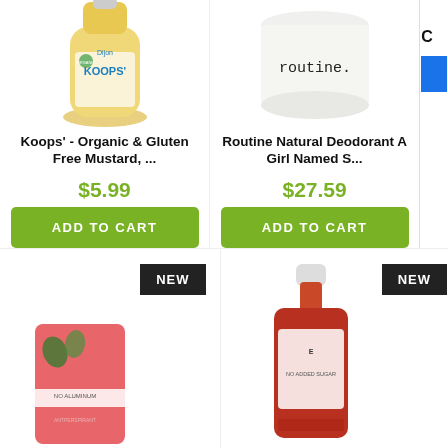[Figure (photo): Koops' Organic Dijon Mustard bottle, yellow squeeze bottle with teal label]
Koops' - Organic & Gluten Free Mustard, ...
$5.99
ADD TO CART
[Figure (photo): Routine Natural Deodorant jar, white ceramic jar with 'routine.' printed on it]
Routine Natural Deodorant A Girl Named S...
$27.59
ADD TO CART
[Figure (photo): NEW badge label on a pink deodorant product, partial bottom row]
[Figure (photo): NEW badge label on a hot sauce bottle, partial bottom row]